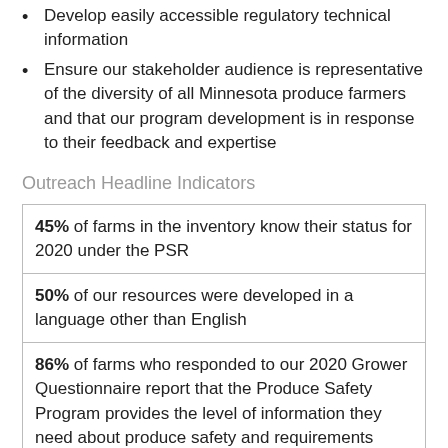Develop easily accessible regulatory technical information
Ensure our stakeholder audience is representative of the diversity of all Minnesota produce farmers and that our program development is in response to their feedback and expertise
Outreach Headline Indicators
| 45% of farms in the inventory know their status for 2020 under the PSR |
| 50% of our resources were developed in a language other than English |
| 86% of farms who responded to our 2020 Grower Questionnaire report that the Produce Safety Program provides the level of information they need about produce safety and requirements under the PSR (handouts, materials, inquiry responses, |